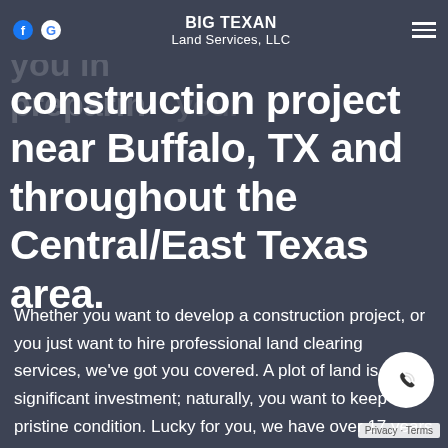BIG TEXAN Land Services, LLC
construction project near Buffalo, TX and throughout the Central/East Texas area.
Whether you want to develop a construction project, or you just want to hire professional land clearing services, we've got you covered. A plot of land is a significant investment; naturally, you want to keep it in pristine condition. Lucky for you, we have over 17 years of land clearing and land excavation experience under our belts.
Privacy · Terms